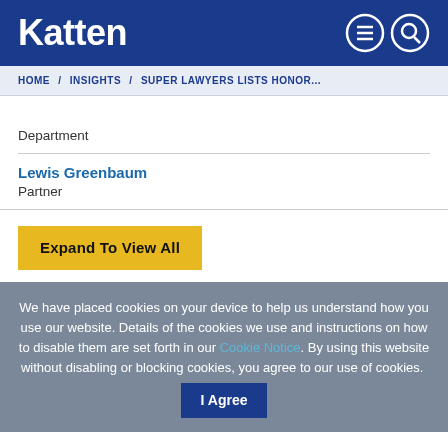Katten
HOME / INSIGHTS / SUPER LAWYERS LISTS HONOR...
Department
Lewis Greenbaum
Partner
Expand To View All
We have placed cookies on your device to help us understand how you use our website. Details of the cookies we use and instructions on how to disable them are set forth in our Cookie Notice. By using this website without disabling or blocking cookies, you agree to our use of cookies. I Agree